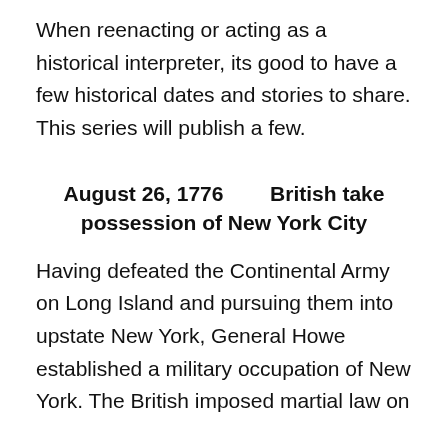When reenacting or acting as a historical interpreter, its good to have a few historical dates and stories to share. This series will publish a few.
August 26, 1776        British take possession of New York City
Having defeated the Continental Army on Long Island and pursuing them into upstate New York, General Howe established a military occupation of New York. The British imposed martial law on